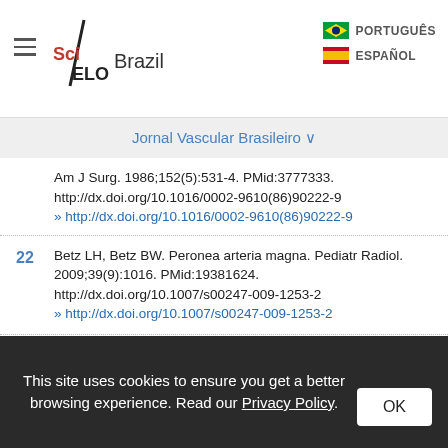SciELO Brazil | Jornal Vascular Brasileiro | PORTUGUÊS | ESPAÑOL
Am J Surg. 1986;152(5):531-4. PMid:3777333. http://dx.doi.org/10.1016/0002-9610(86)90222-9
» http://dx.doi.org/10.1016/0002-9610(86)90222-9
22  Betz LH, Betz BW. Peronea arteria magna. Pediatr Radiol. 2009;39(9):1016. PMid:19381624. http://dx.doi.org/10.1007/s00247-009-1253-2
» http://dx.doi.org/10.1007/s00247-009-1253-2
23
This site uses cookies to ensure you get a better browsing experience. Read our Privacy Policy.